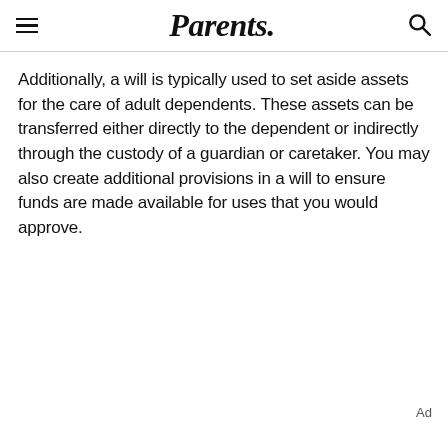Parents.
Additionally, a will is typically used to set aside assets for the care of adult dependents. These assets can be transferred either directly to the dependent or indirectly through the custody of a guardian or caretaker. You may also create additional provisions in a will to ensure funds are made available for uses that you would approve.
Ad